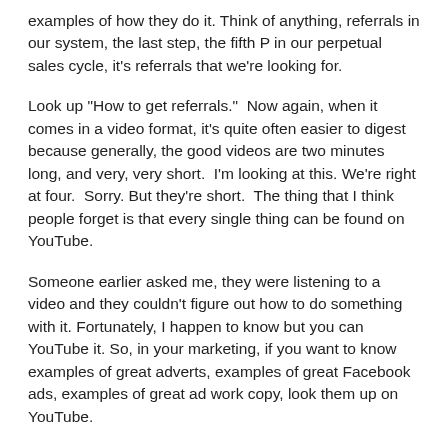examples of how they do it. Think of anything, referrals in our system, the last step, the fifth P in our perpetual sales cycle, it's referrals that we're looking for.
Look up "How to get referrals." Now again, when it comes in a video format, it's quite often easier to digest because generally, the good videos are two minutes long, and very, very short. I'm looking at this. We're right at four. Sorry. But they're short. The thing that I think people forget is that every single thing can be found on YouTube.
Someone earlier asked me, they were listening to a video and they couldn't figure out how to do something with it. Fortunately, I happen to know but you can YouTube it. So, in your marketing, if you want to know examples of great adverts, examples of great Facebook ads, examples of great ad work copy, look them up on YouTube.